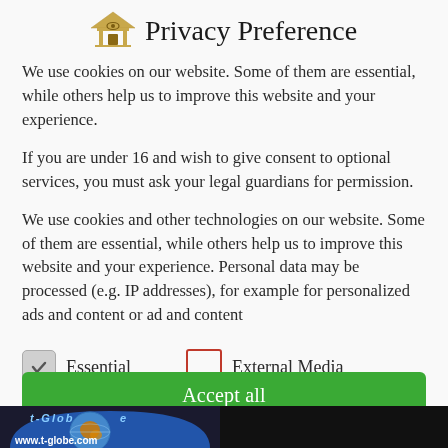Privacy Preference
We use cookies on our website. Some of them are essential, while others help us to improve this website and your experience.
If you are under 16 and wish to give consent to optional services, you must ask your legal guardians for permission.
We use cookies and other technologies on our website. Some of them are essential, while others help us to improve this website and your experience. Personal data may be processed (e.g. IP addresses), for example for personalized ads and content or ad and content
Essential
External Media
Accept all
[Figure (logo): t-Globe logo with globe icon and text www.t-globe.com]